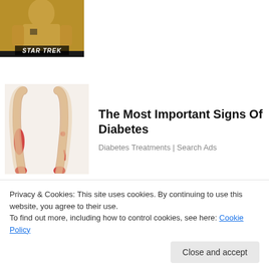[Figure (photo): Star Trek advertisement showing a person in gold uniform with STAR TREK logo text]
[Figure (illustration): Medical illustration of two human legs showing red highlighted areas indicating diabetes symptoms]
The Most Important Signs Of Diabetes
Diabetes Treatments | Search Ads
[Figure (photo): Close-up photo of a plant stem/root vegetable on a wooden surface]
Privacy & Cookies: This site uses cookies. By continuing to use this website, you agree to their use.
To find out more, including how to control cookies, see here: Cookie Policy
Close and accept